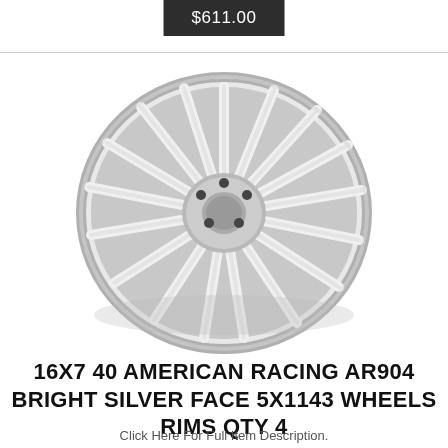$611.00
[Figure (photo): Silver multi-spoke alloy wheel rim (American Racing AR904), viewed at a slight angle showing the spoke pattern and center cap.]
16X7 40 AMERICAN RACING AR904 BRIGHT SILVER FACE 5X1143 WHEELS RIMS QTY 4
Click Here For Full Item Description.